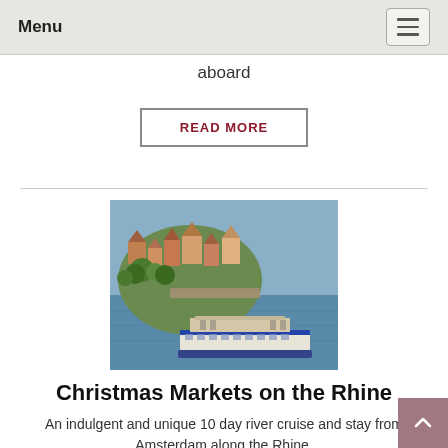Menu
aboard
READ MORE
[Figure (photo): Aerial view of a river town with a cruise ship sailing along the river, colorful buildings and trees on a peninsula]
Christmas Markets on the Rhine
An indulgent and unique 10 day river cruise and stay from Amsterdam along the Rhine.